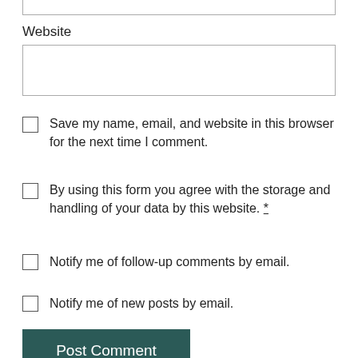Website
Save my name, email, and website in this browser for the next time I comment.
By using this form you agree with the storage and handling of your data by this website. *
Notify me of follow-up comments by email.
Notify me of new posts by email.
Post Comment